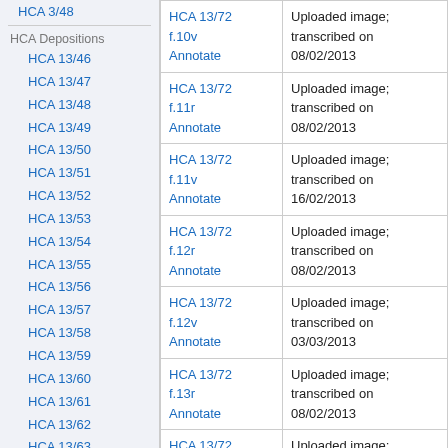HCA 3/48
HCA Depositions
HCA 13/46
HCA 13/47
HCA 13/48
HCA 13/49
HCA 13/50
HCA 13/51
HCA 13/52
HCA 13/53
HCA 13/54
HCA 13/55
HCA 13/56
HCA 13/57
HCA 13/58
HCA 13/59
HCA 13/60
HCA 13/61
HCA 13/62
HCA 13/63
HCA 13/64
HCA 13/65
HCA 13/66
| Reference | Status |
| --- | --- |
| HCA 13/72 f.10v Annotate | Uploaded image; transcribed on 08/02/2013 |
| HCA 13/72 f.11r Annotate | Uploaded image; transcribed on 08/02/2013 |
| HCA 13/72 f.11v Annotate | Uploaded image; transcribed on 16/02/2013 |
| HCA 13/72 f.12r Annotate | Uploaded image; transcribed on 08/02/2013 |
| HCA 13/72 f.12v Annotate | Uploaded image; transcribed on 03/03/2013 |
| HCA 13/72 f.13r Annotate | Uploaded image; transcribed on 08/02/2013 |
| HCA 13/72 f.13v | Uploaded image; transcribed |